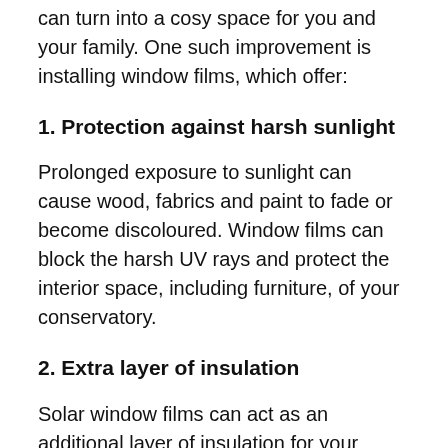can turn into a cosy space for you and your family. One such improvement is installing window films, which offer:
1. Protection against harsh sunlight
Prolonged exposure to sunlight can cause wood, fabrics and paint to fade or become discoloured. Window films can block the harsh UV rays and protect the interior space, including furniture, of your conservatory.
2. Extra layer of insulation
Solar window films can act as an additional layer of insulation for your conservatory. They can help make the space comfortable during